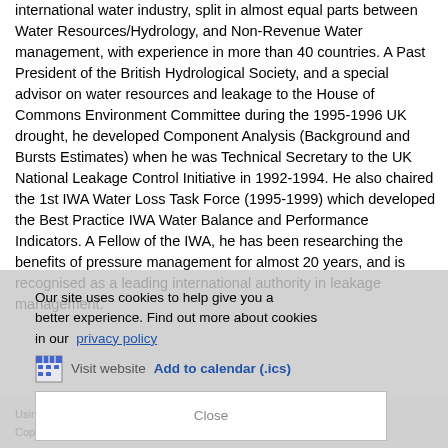international water industry, split in almost equal parts between Water Resources/Hydrology, and Non-Revenue Water management, with experience in more than 40 countries. A Past President of the British Hydrological Society, and a special advisor on water resources and leakage to the House of Commons Environment Committee during the 1995-1996 UK drought, he developed Component Analysis (Background and Bursts Estimates) when he was Technical Secretary to the UK National Leakage Control Initiative in 1992-1994. He also chaired the 1st IWA Water Loss Task Force (1995-1999) which developed the Best Practice IWA Water Balance and Performance Indicators. A Fellow of the IWA, he has been researching the benefits of pressure management for almost 20 years, and is recognised as a leading international authority in leakage management.
Our site uses cookies to help give you a better experience. Find out more about cookies in our privacy policy
Visit website Add to calendar (.ics)
Using our site | Accessibility | Freedom of Information | Data Protection | Copyright & disclaimer | Privacy & cookies